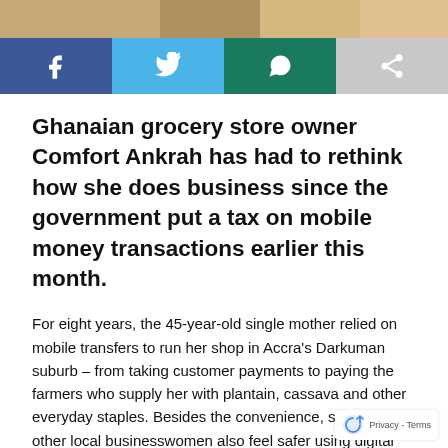[Figure (photo): Partial top image strip showing colorful background]
[Figure (infographic): Social media share buttons: Facebook (blue), Twitter (light blue), WhatsApp (dark green), Share (grey)]
Ghanaian grocery store owner Comfort Ankrah has had to rethink how she does business since the government put a tax on mobile money transactions earlier this month.
For eight years, the 45-year-old single mother relied on mobile transfers to run her shop in Accra’s Darkuman suburb – from taking customer payments to paying the farmers who supply her with plantain, cassava and other everyday staples. Besides the convenience, she and other local businesswomen also feel safer using digital money instead of having to carry cash around, Ankrah said the new 1.5% tax on mobile money, also known as t